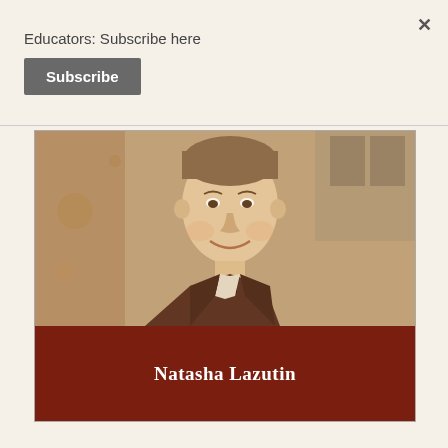Educators: Subscribe here
Subscribe
[Figure (photo): Sepia-toned vintage photograph of a young boy in a suit and bow tie, smiling. Below the photo is a dark red name bar.]
Natasha Lazutin